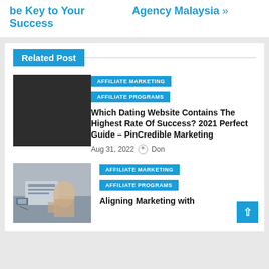be Key to Your Success
Agency Malaysia »
Related Post
AFFILIATE MARKETING
AFFILIATE PROGRAMS
Which Dating Website Contains The Highest Rate Of Success? 2021 Perfect Guide – PinCredible Marketing
Aug 31, 2022  Don
AFFILIATE MARKETING
AFFILIATE PROGRAMS
Aligning Marketing with